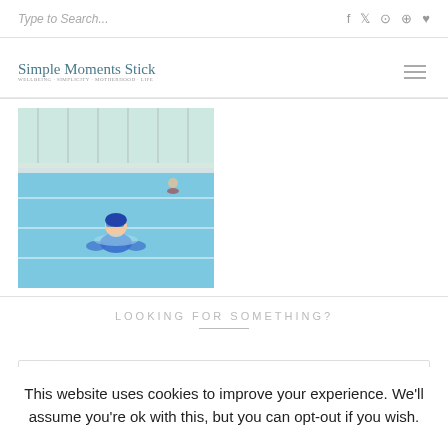Type to Search...
Simple Moments Stick
[Figure (photo): Child in a swimming pool wearing goggles and blue swimsuit, with lanes visible and other swimmers in background]
LOOKING FOR SOMETHING?
Search...
This website uses cookies to improve your experience. We'll assume you're ok with this, but you can opt-out if you wish.